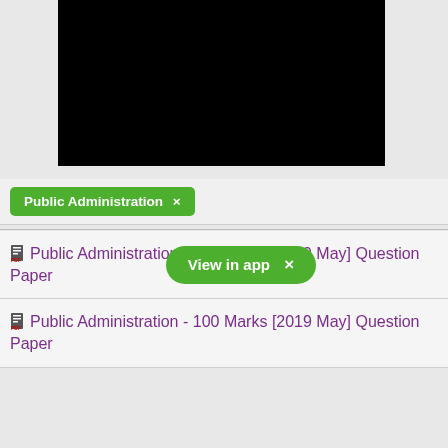[Figure (photo): Black rectangle image area at the top portion of the page]
Public Administration ×
View in app ×
Public Administration - 100 Marks [2019 May] Question Paper
Public Administration - 100 Marks [2019 May] Question Paper